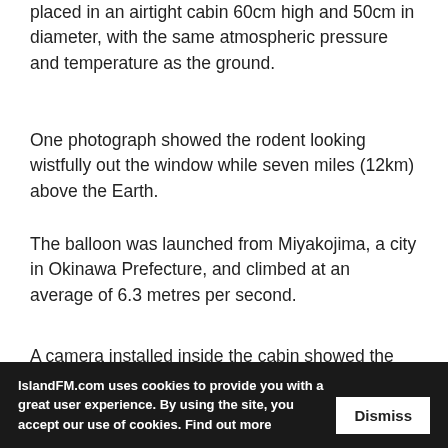placed in an airtight cabin 60cm high and 50cm in diameter, with the same atmospheric pressure and temperature as the ground.
One photograph showed the rodent looking wistfully out the window while seven miles (12km) above the Earth.
The balloon was launched from Miyakojima, a city in Okinawa Prefecture, and climbed at an average of 6.3 metres per second.
A camera installed inside the cabin showed the animal snoozing comfortably during the gradual ascent.
travel to the masses, and the experiment was designed to give would-be cons…
IslandFM.com uses cookies to provide you with a great user experience. By using the site, you accept our use of cookies. Find out more